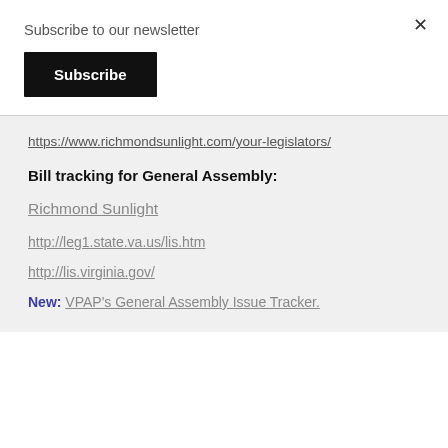Subscribe to our newsletter
Subscribe
https://www.richmondsunlight.com/your-legislators/
Bill tracking for General Assembly:
Richmond Sunlight
http://leg1.state.va.us/lis.htm
http://lis.virginia.gov/
New: VPAP's General Assembly Issue Tracker.